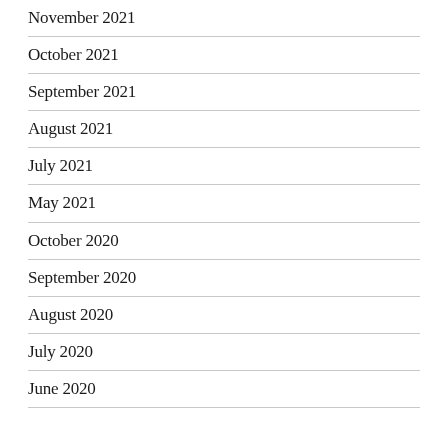November 2021
October 2021
September 2021
August 2021
July 2021
May 2021
October 2020
September 2020
August 2020
July 2020
June 2020